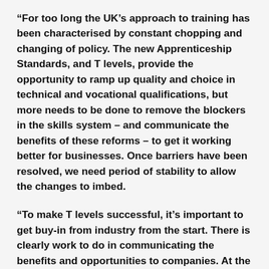“For too long the UK’s approach to training has been characterised by constant chopping and changing of policy. The new Apprenticeship Standards, and T levels, provide the opportunity to ramp up quality and choice in technical and vocational qualifications, but more needs to be done to remove the blockers in the skills system – and communicate the benefits of these reforms – to get it working better for businesses. Once barriers have been resolved, we need period of stability to allow the changes to imbed.
“To make T levels successful, it’s important to get buy-in from industry from the start. There is clearly work to do in communicating the benefits and opportunities to companies. At the same time, more businesses need to recognise their responsibility to invest in young people and the wider workforce. Developing the skills we need now and for the future relies on close cooperation between